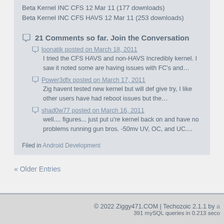Beta Kernel INC CFS 12 Mar 11 (177 downloads)
Beta Kernel INC CFS HAVS 12 Mar 11 (253 downloads)
21 Comments so far. Join the Conversation
loonatik posted on March 18, 2011
I tried the CFS HAVS and non-HAVS Incredibly kernel. I saw it noted some are having issues with FC's and…
Power3dfx posted on March 17, 2011
Zig havent tested new kernel but will def give try, I like other users have had reboot issues but the…
shad0w77 posted on March 16, 2011
well.... figures... just put u're kernel back on and have no problems running gun bros. -50mv UV, OC, and UC....
Filed in Android Development
« Older Entries
© 2022 Ziggy471.COM | Techozoic 2.1.1 by … 391 mySQL queries in 0.213 seco…